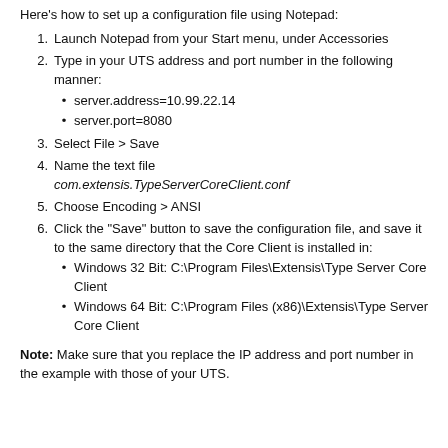Here's how to set up a configuration file using Notepad:
1. Launch Notepad from your Start menu, under Accessories
2. Type in your UTS address and port number in the following manner:
server.address=10.99.22.14
server.port=8080
3. Select File > Save
4. Name the text file com.extensis.TypeServerCoreClient.conf
5. Choose Encoding > ANSI
6. Click the "Save" button to save the configuration file, and save it to the same directory that the Core Client is installed in:
Windows 32 Bit: C:\Program Files\Extensis\Type Server Core Client
Windows 64 Bit: C:\Program Files (x86)\Extensis\Type Server Core Client
Note: Make sure that you replace the IP address and port number in the example with those of your UTS.